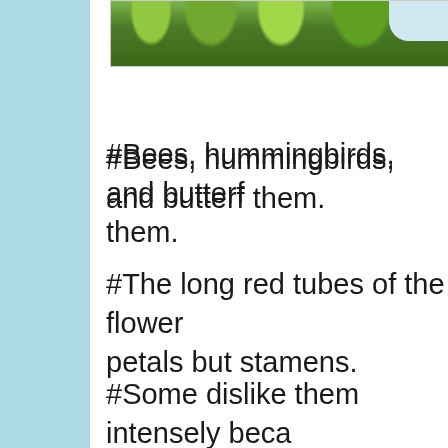[Figure (photo): Partial view of trees with green foliage against a light sky, photo cropped at the top of the page]
#Bees, hummingbirds, and butterflies love them.
#The long red tubes of the flowers are not petals but stamens.
#Some dislike them intensely because of their propensity to spread everywhere a